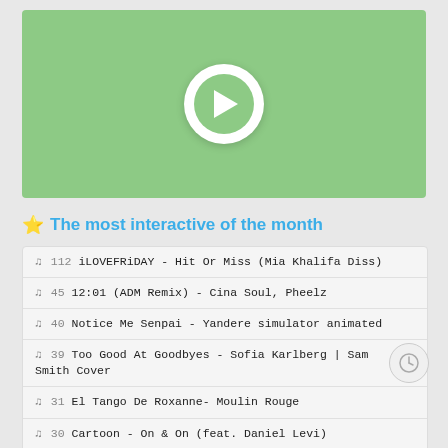[Figure (illustration): Green video player thumbnail with a white play button circle containing a green circle with a white play triangle arrow]
⭐ The most interactive of the month
♪ 112 iLOVEFRiDAY - Hit Or Miss (Mia Khalifa Diss)
♪ 45 12:01 (ADM Remix) - Cina Soul, Pheelz
♪ 40 Notice Me Senpai - Yandere simulator animated
♪ 39 Too Good At Goodbyes - Sofia Karlberg | Sam Smith Cover
♪ 31 El Tango De Roxanne- Moulin Rouge
♪ 30 Cartoon - On & On (feat. Daniel Levi)
♪ 29 timmies - tell me why i'm waiting (ft. shiloh)
♪ 28 My Valentine - Martina McBride